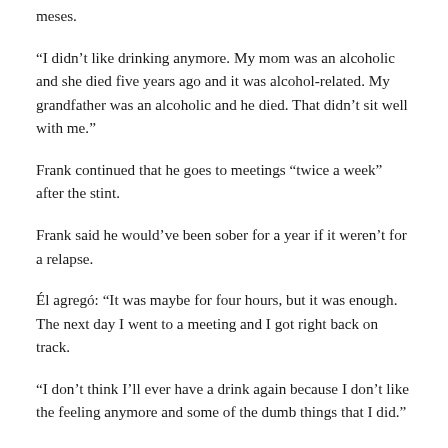meses.
“I didn’t like drinking anymore. My mom was an alcoholic and she died five years ago and it was alcohol-related. My grandfather was an alcoholic and he died. That didn’t sit well with me.”
Frank continued that he goes to meetings “twice a week” after the stint.
Frank said he would’ve been sober for a year if it weren’t for a relapse.
Él agregó: “It was maybe for four hours, but it was enough. The next day I went to a meeting and I got right back on track.
“I don’t think I’ll ever have a drink again because I don’t like the feeling anymore and some of the dumb things that I did.”
Frank continued: “I’m feeling really good. Life is good and I’d like to get back into the swing of things. I wish I had done it five years ago, I